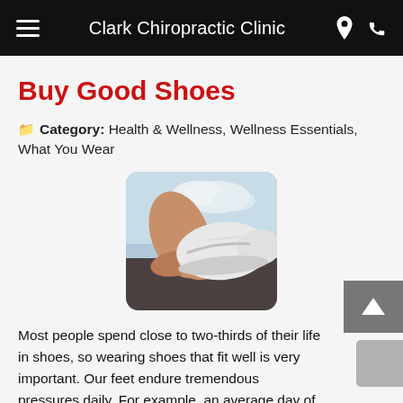Clark Chiropractic Clinic
Buy Good Shoes
Category: Health & Wellness, Wellness Essentials, What You Wear
[Figure (photo): Person tying or adjusting a white sneaker/athletic shoe outdoors]
Most people spend close to two-thirds of their life in shoes, so wearing shoes that fit well is very important. Our feet endure tremendous pressures daily. For example, an average day of walking brings a force equal to several hundred tons on your feet. Feet are subject to more injury than any other